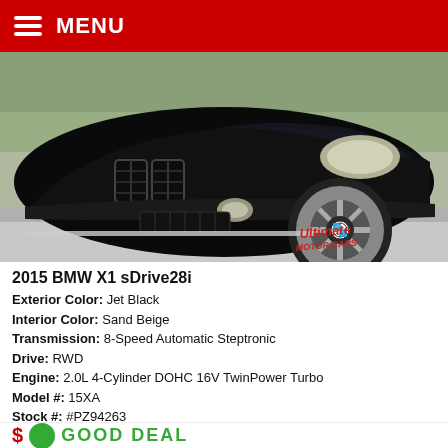MENU
[Figure (photo): Front view of a black 2015 BMW X1 sDrive28i with 'Ultimate Motor Cars' watermark in bottom right corner.]
2015 BMW X1 sDrive28i
Exterior Color: Jet Black
Interior Color: Sand Beige
Transmission: 8-Speed Automatic Steptronic
Drive: RWD
Engine: 2.0L 4-Cylinder DOHC 16V TwinPower Turbo
Model #: 15XA
Stock #: #PZ94263
Miles: 86,918 mi